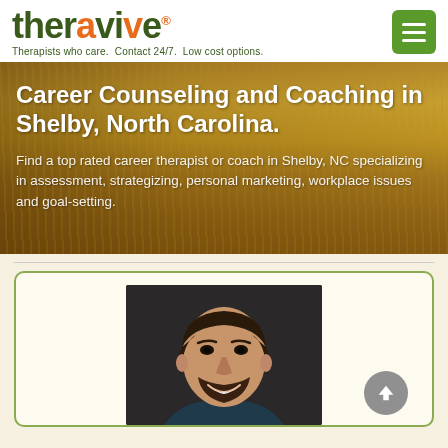[Figure (logo): Theravive logo with green and orange text, tagline: Therapists who care. Contact 24/7. Low cost options.]
Career Counseling and Coaching in Shelby, North Carolina.
Find a top rated career therapist or coach in Shelby, NC specializing in assessment, strategizing, personal marketing, workplace issues and goal-setting.
[Figure (photo): Professional headshot of a young man with brown hair and beard, smiling, wearing a dark shirt against a dark background.]